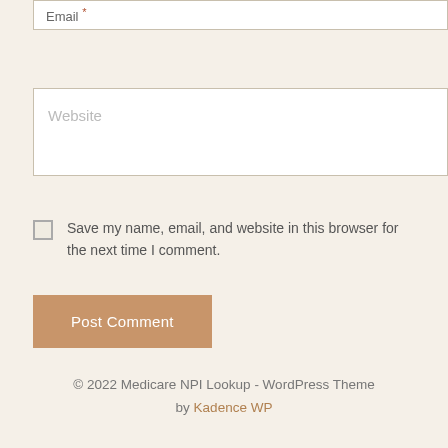Email *
Website
Save my name, email, and website in this browser for the next time I comment.
Post Comment
© 2022 Medicare NPI Lookup - WordPress Theme by Kadence WP